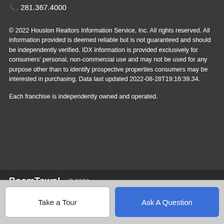📞 281.367.4000
© 2022 Houston Realtors Information Service, Inc. All rights reserved. All information provided is deemed reliable but is not guaranteed and should be independently verified. IDX information is provided exclusively for consumers' personal, non-commercial use and may not be used for any purpose other than to identify prospective properties consumers may be interested in purchasing. Data last updated 2022-08-28T19:16:39.34.
Each franchise is independently owned and operated.
BoomTown! © 2022 — Terms of Use | Privacy Policy | Accessibility | DMCA | Listings Sitemap
Take a Tour
Ask A Question